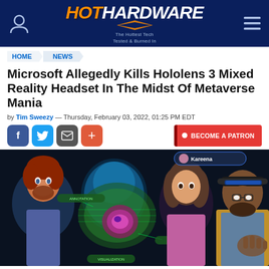[Figure (logo): HotHardware logo with orange HOT and white HARDWARE text on dark blue header background, with user icon and hamburger menu]
HOME > NEWS
Microsoft Allegedly Kills Hololens 3 Mixed Reality Headset In The Midst Of Metaverse Mania
by Tim Sweezy — Thursday, February 03, 2022, 01:25 PM EDT
[Figure (infographic): Social share buttons (Facebook, Twitter, Email, Plus) and BECOME A PATRON button]
[Figure (photo): A man wearing a HoloLens mixed reality headset viewing holographic medical imagery, alongside virtual avatars including a woman and a red-haired man, with a holographic anatomical heart model in the center labeled Kareena]